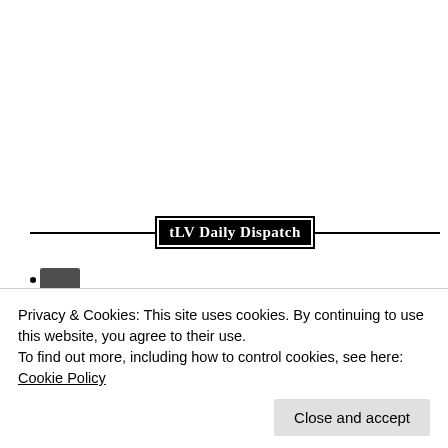[Figure (logo): LV Daily Dispatch newspaper masthead logo — black rectangle with white old-English/blackletter text reading 'tLV Daily Dispatch', flanked by horizontal black rules]
Privacy & Cookies: This site uses cookies. By continuing to use this website, you agree to their use.
To find out more, including how to control cookies, see here: Cookie Policy
Close and accept
Daiquiri Bar